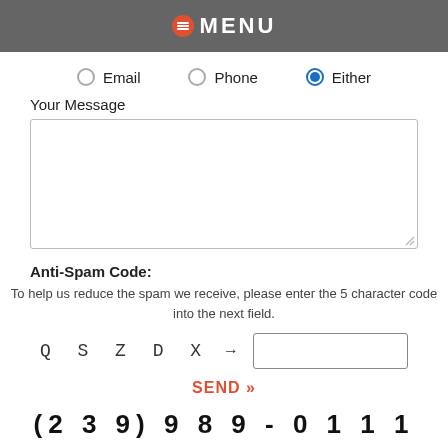MENU
Email   Phone   Either
Your Message
Anti-Spam Code:
To help us reduce the spam we receive, please enter the 5 character code into the next field.
Q S Z D X → [input field]
SEND »
(239) 989-0111